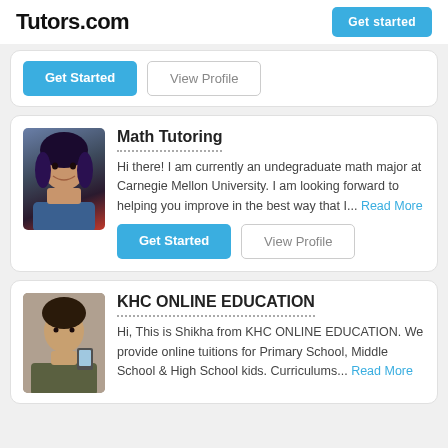Tutors.com
Get Started | View Profile
Math Tutoring
Hi there! I am currently an undegraduate math major at Carnegie Mellon University. I am looking forward to helping you improve in the best way that I... Read More
Get Started | View Profile
KHC ONLINE EDUCATION
Hi, This is Shikha from KHC ONLINE EDUCATION. We provide online tuitions for Primary School, Middle School & High School kids. Curriculums... Read More